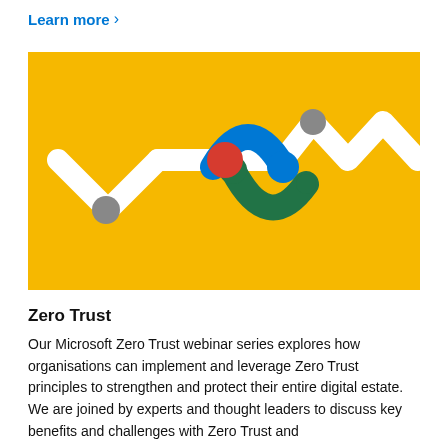Learn more >
[Figure (illustration): Zero Trust illustration on orange/yellow background showing a stylized abstract logo with a white winding path/connector, a blue arch with blue circle endpoint, a green arch with green circle endpoint, a red/orange central circle, and two gray circles at the ends of the white path, all on a bright orange-yellow background.]
Zero Trust
Our Microsoft Zero Trust webinar series explores how organisations can implement and leverage Zero Trust principles to strengthen and protect their entire digital estate. We are joined by experts and thought leaders to discuss key benefits and challenges with Zero Trust and